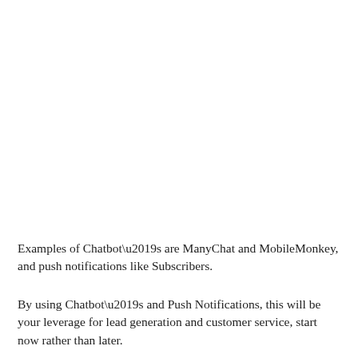Examples of Chatbot’s are ManyChat and MobileMonkey, and push notifications like Subscribers.
By using Chatbot’s and Push Notifications, this will be your leverage for lead generation and customer service, start now rather than later.